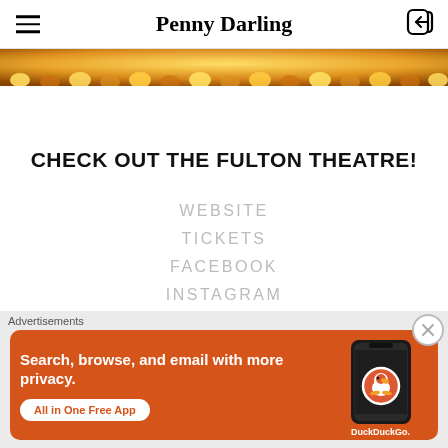Penny Darling
[Figure (photo): Golden/amber decorative lights or scalloped border strip, photographed close-up with warm orange-gold bokeh lighting effect]
CHECK OUT THE FULTON THEATRE!
WEBSITE
TICKETS
FACEBOOK
INSTAGRAM
[Figure (screenshot): DuckDuckGo advertisement banner. Orange background with white text: 'Search, browse, and email with more privacy. All in One Free App'. Shows a smartphone with DuckDuckGo logo and 'DuckDuckGo.' branding.]